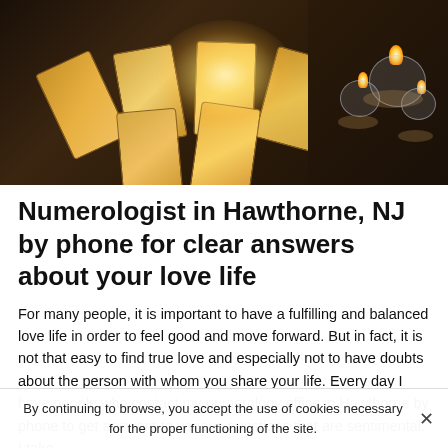[Figure (photo): Tarot cards spread on a dark wooden table with a glowing light in the center, and glass candle holders with lit candles on the right side]
Numerologist in Hawthorne, NJ by phone for clear answers about your love life
For many people, it is important to have a fulfilling and balanced love life in order to feel good and move forward. But in fact, it is not that easy to find true love and especially not to have doubts about the person with whom you share your life. Every day I have people who contact my numerology office in Hawthorne by phone to get answers to various questions that are sentimental. I take
By continuing to browse, you accept the use of cookies necessary for the proper functioning of the site.